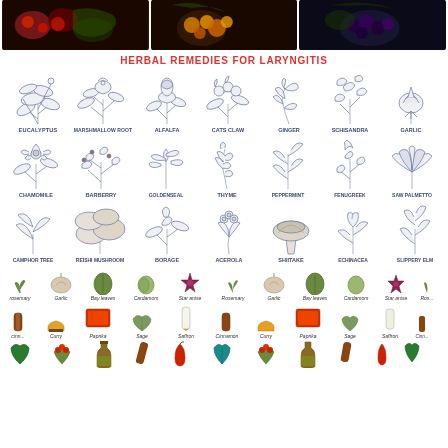[Figure (photo): Three color photos of berries/fruits at top of page]
HERBAL REMEDIES FOR LARYNGITIS
[Figure (illustration): Grid of 21 botanical herb illustrations with labels: Row 1 - EUCALYPTUS, MARSHMALLOW ROOT, ALFALFA, CATS CLAW, GINGER, SCHISANDRA, GARLIC; Row 2 - CHAMOMILE, BARBERRY, GOLDENSEAL, THYME, PEPPERMINT, FENUGREEK, SAW PALMETTO; Row 3 - CAMPHOR TREE, REISHI MUSHROOM, BORAGE, ACEROLA, SHIITAKE, ECHINACEA, SLIPPERY ELM]
[Figure (illustration): Rows of colorful spice and herb icons with labels: rosemary, garlic, bay leaves, cardamom, star anise, rosemary, garlic, bay leaves, cardamom, star anise; cinnamon, curry, paprika, sage, saffron, cinnamon, curry, paprika, sage, saffron, cinnamon; and a bottom row of additional herb/spice icons]